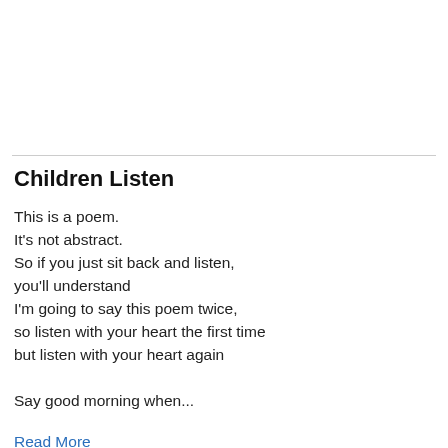Children Listen
This is a poem.
It's not abstract.
So if you just sit back and listen,
you'll understand
I'm going to say this poem twice,
so listen with your heart the first time
but listen with your heart again

Say good morning when...
Read More